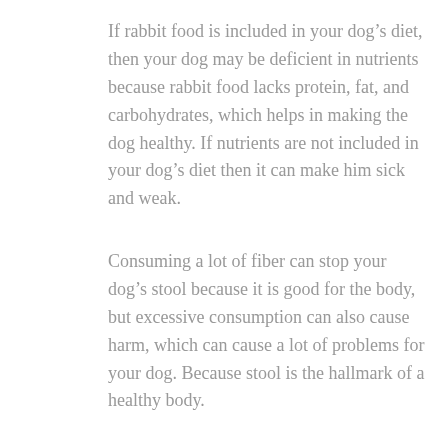If rabbit food is included in your dog's diet, then your dog may be deficient in nutrients because rabbit food lacks protein, fat, and carbohydrates, which helps in making the dog healthy. If nutrients are not included in your dog's diet then it can make him sick and weak.
Consuming a lot of fiber can stop your dog's stool because it is good for the body, but excessive consumption can also cause harm, which can cause a lot of problems for your dog. Because stool is the hallmark of a healthy body.